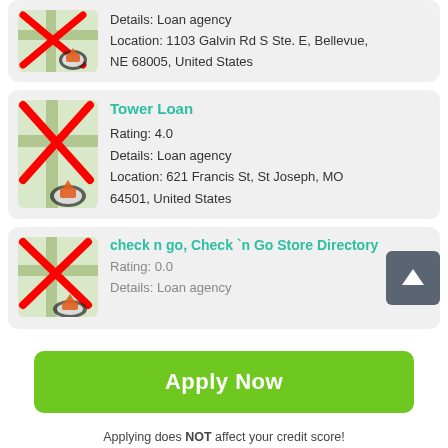[Figure (screenshot): Map icon with red X overlay and location pin, partial top card showing loan agency at 1103 Galvin Rd S Ste. E, Bellevue, NE 68005]
Details: Loan agency
Location: 1103 Galvin Rd S Ste. E, Bellevue, NE 68005, United States
[Figure (screenshot): Map icon with red X overlay and location pin for Tower Loan]
Tower Loan
Rating: 4.0
Details: Loan agency
Location: 621 Francis St, St Joseph, MO 64501, United States
[Figure (screenshot): Map icon with red X overlay and location pin for check n go]
check n go, Check `n Go Store Directory
Rating: 0.0
Details: Loan agency
Apply Now
Applying does NOT affect your credit score!
No credit check to apply.